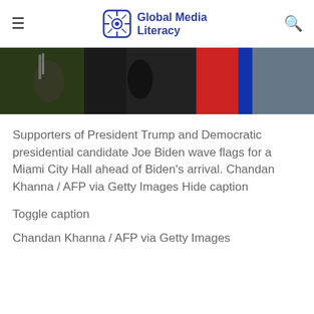Global Media Literacy
[Figure (photo): Photo strip showing supporters of President Trump and Democratic presidential candidate Joe Biden waving flags outside Miami City Hall]
Supporters of President Trump and Democratic presidential candidate Joe Biden wave flags for a Miami City Hall ahead of Biden’s arrival. Chandan Khanna / AFP via Getty Images Hide caption
Toggle caption
Chandan Khanna / AFP via Getty Images